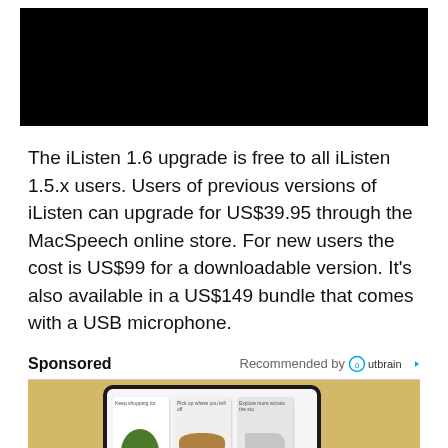[Figure (photo): Black rectangle image at top of page (video/image placeholder)]
The iListen 1.6 upgrade is free to all iListen 1.5.x users. Users of previous versions of iListen can upgrade for US$39.95 through the MacSpeech online store. For new users the cost is US$99 for a downloadable version. It's also available in a US$149 bundle that comes with a USB microphone.
Sponsored
Recommended by Outbrain
[Figure (photo): Advertisement image showing a smartphone with shopping app cards (Keep shopping for, Pick up where you left off, Explore more across the sto...) with plant, sunglasses, and shoes images]